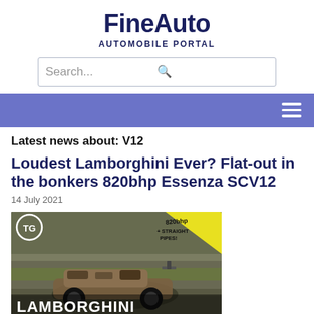FineAuto
AUTOMOBILE PORTAL
Latest news about: V12
Loudest Lamborghini Ever? Flat-out in the bonkers 820bhp Essenza SCV12
14 July 2021
[Figure (photo): Thumbnail image of Lamborghini Essenza SCV12 on a race track, with TG logo in top-left corner and text '820bhp + STRAIGHT PIPES!' in top-right. Large text 'LAMBORGHINI ESSENZA SCV12' in yellow/white at the bottom.]